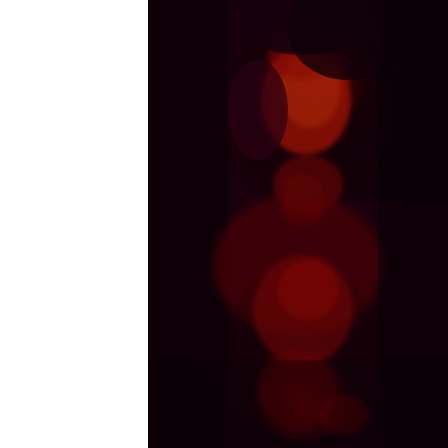[Figure (photo): A dark, moody photograph of a person's face and upper body illuminated by intense red lighting against a very dark, near-black background. The subject appears to be looking upward, with their face and neck bathed in vivid red/crimson light, creating a dramatic, atmospheric portrait. The image has a grainy, film-like quality. The left portion of the page is a white margin.]